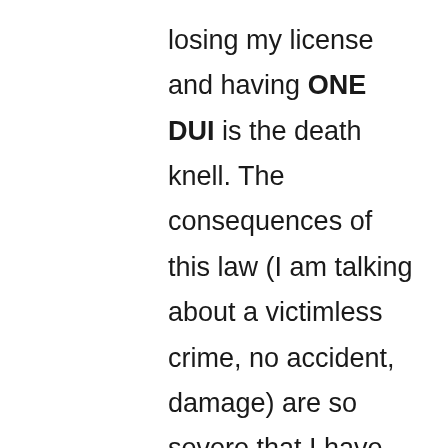losing my license and having ONE DUI is the death knell. The consequences of this law (I am talking about a victimless crime, no accident, damage) are so severe that I have been reduced to the depths of depravity. No employment ever for the rest of my existence, no chance of going back to school ever, cannot even volunteer for pizza day at the children's school ever, cannot travel to any first world country ever, cannot even get the license back unless you have an alcolock installed for 1 year, cancelled insurance because I am now branded as a menace to society, to reinstate the